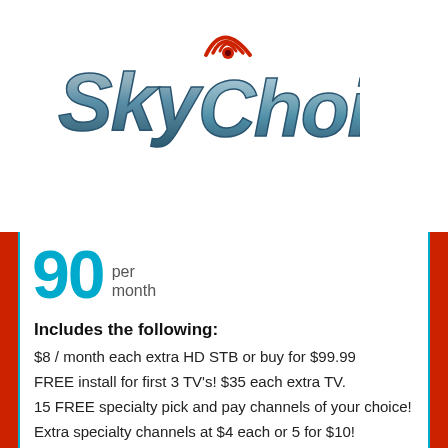[Figure (logo): Sky Choice logo with metallic blue/grey italic text and red signal icon above the 'o' in Choice]
90 per month
Includes the following:
$8 / month each extra HD STB or buy for $99.99
FREE install for first 3 TV's! $35 each extra TV.
15 FREE specialty pick and pay channels of your choice!
Extra specialty channels at $4 each or 5 for $10!